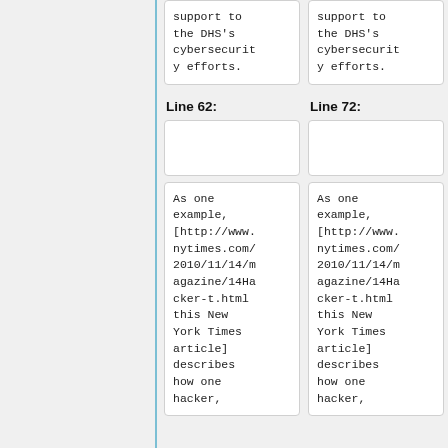| Line 62: | Line 72: |
| --- | --- |
| support to
the DHS's
cybersecurity efforts. | support to
the DHS's
cybersecurity efforts. |
|  |  |
| As one example, [http://www.nytimes.com/2010/11/14/magazine/14Hacker-t.html this New York Times article] describes how one hacker, | As one example, [http://www.nytimes.com/2010/11/14/magazine/14Hacker-t.html this New York Times article] describes how one hacker, |